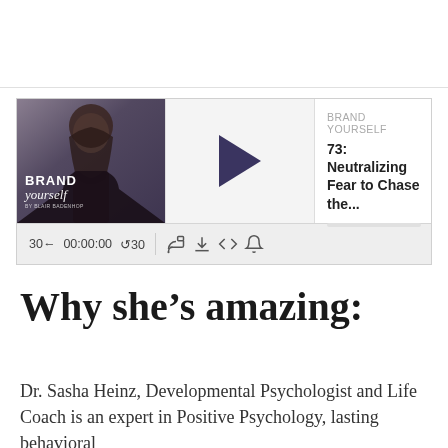[Figure (screenshot): Podcast player widget for 'Brand Yourself' podcast, episode 73: Neutralizing Fear to Chase the... Shows podcast artwork thumbnail on left (woman in dark top with cursive 'Brand yourself' text overlay), a play button in the middle section, episode title and podcast name on the right, and a controls bar at the bottom showing '30← 00:00:00 ↺30' and icons for cast, download, embed code, and volume.]
Why she's amazing:
Dr. Sasha Heinz, Developmental Psychologist and Life Coach is an expert in Positive Psychology, lasting behavioral